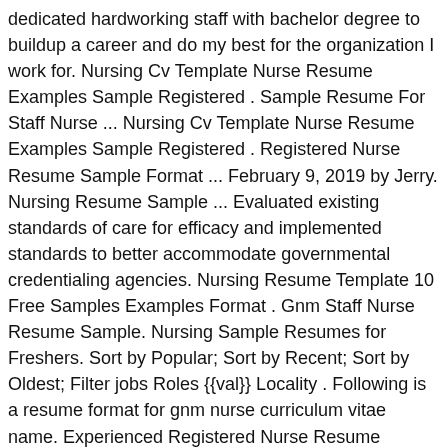dedicated hardworking staff with bachelor degree to buildup a career and do my best for the organization I work for. Nursing Cv Template Nurse Resume Examples Sample Registered . Sample Resume For Staff Nurse ... Nursing Cv Template Nurse Resume Examples Sample Registered . Registered Nurse Resume Sample Format ... February 9, 2019 by Jerry. Nursing Resume Sample ... Evaluated existing standards of care for efficacy and implemented standards to better accommodate governmental credentialing agencies. Nursing Resume Template 10 Free Samples Examples Format . Gnm Staff Nurse Resume Sample. Nursing Sample Resumes for Freshers. Sort by Popular; Sort by Recent; Sort by Oldest; Filter jobs Roles {{val}} Locality . Following is a resume format for gnm nurse curriculum vitae name. Experienced Registered Nurse Resume Examples Awesome Photos . Prescribes, evaluate and coordinate nursing patient care through collaborative efforts with health team members. Troubleshooting problems with patients or staff, analyzed needs generated referrals to appropriate resources. Responsible for